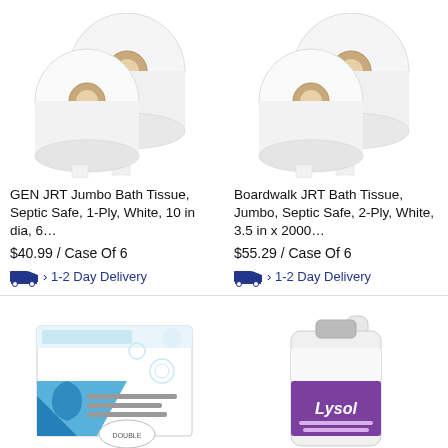[Figure (photo): Two large white jumbo toilet paper rolls side by side on white background]
GEN JRT Jumbo Bath Tissue, Septic Safe, 1-Ply, White, 10 in dia, 6…
$40.99 / Case Of 6
› 1-2 Day Delivery
[Figure (photo): Two large white jumbo toilet paper rolls on white background]
Boardwalk JRT Bath Tissue, Jumbo, Septic Safe, 2-Ply, White, 3.5 in x 2000…
$55.29 / Case Of 6
› 1-2 Day Delivery
[Figure (photo): White and blue cardboard box of tissue paper with blue geometric design]
[Figure (photo): Lysol brand cleaning product in a large white jug with purple label]